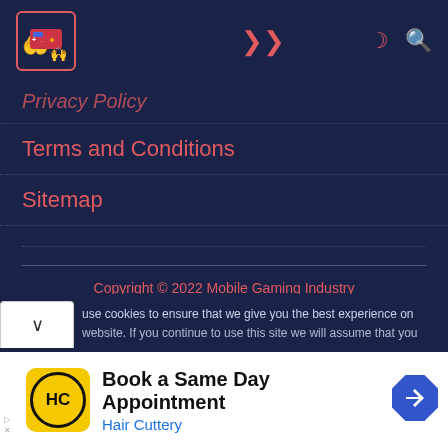[Figure (logo): Mobile Gaming Industry website logo with game controller hands icon in a bordered box]
Privacy Policy
Terms and Conditions
Sitemap
Copyright © 2022 Mobile Gaming Industry
[Figure (infographic): Social media icons row: Facebook, Twitter, Instagram, Pinterest, Tumblr, Reddit, Google]
use cookies to ensure that we give you the best experience on website. If you continue to use this site we will assume that you
[Figure (other): Advertisement banner: Book a Same Day Appointment - Hair Cuttery with HC logo and navigation arrow icon]